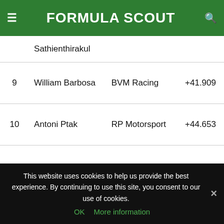FORMULA SCOUT
| Pos | Driver | Team | Gap |
| --- | --- | --- | --- |
|  | Sathienthirakul |  |  |
| 9 | William Barbosa | BVM Racing | +41.909 |
| 10 | Antoni Ptak | RP Motorsport | +44.653 |
| 11 | Alexey Chuklin | Corbetta Competizioni | +44.901 |
| 12 | Ahmad Al Ghanem | Campos Racing | +1:03.642 |
This website uses cookies to help us provide the best experience. By continuing to use this site, you consent to our use of cookies. OK  More information